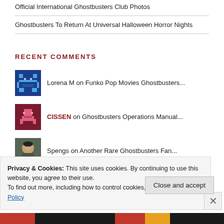Official International Ghostbusters Club Photos
Ghostbusters To Return At Universal Halloween Horror Nights
RECENT COMMENTS
Lorena M on Funko Pop Movies Ghostbusters...
CISSEN on Ghostbusters Operations Manual...
Spengs on Another Rare Ghostbusters Fan...
Privacy & Cookies: This site uses cookies. By continuing to use this website, you agree to their use.
To find out more, including how to control cookies, see here: Cookie Policy
Close and accept